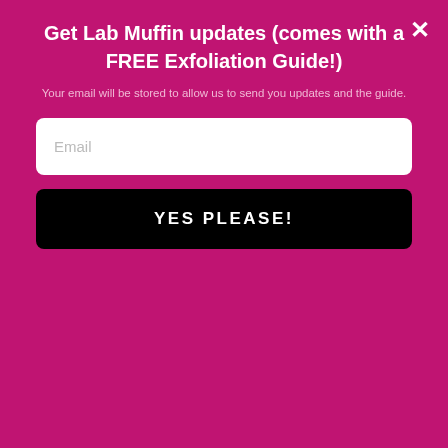Get Lab Muffin updates (comes with a FREE Exfoliation Guide!)
Your email will be stored to allow us to send you updates and the guide.
Email
YES PLEASE!
May 10, 2019 at 2:30 am
Thank you so much, Michelle
Great article!
Reply
[Figure (screenshot): Ad banner: yellow background with 'It's okay to question. Now get the facts on COVID-19 vaccines GetVaccineAnswers.org']